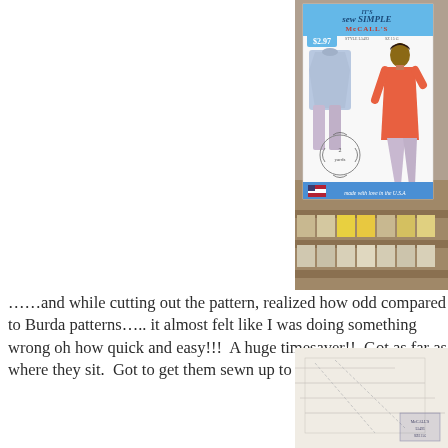[Figure (photo): Photo of a McCall's 'It's Sew Simple' sewing pattern envelope priced at $2.97, showing a woman's tunic and leggings, held up in what appears to be a fabric/craft store with shelves of patterns visible in the background.]
……and while cutting out the pattern, realized how odd compared to Burda patterns….. it almost felt like I was doing something wrong oh how quick and easy!!!  A huge timesaver!!  Got as far as where they sit.  Got to get them sewn up to see if they
[Figure (photo): Photo of cut sewing pattern tissue paper pieces laid out, with a small pattern marking/notch indicator visible in the lower right corner.]